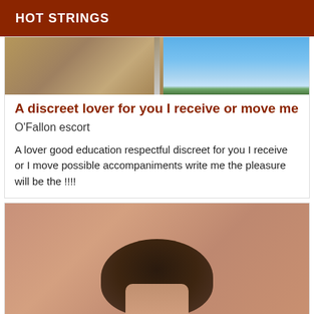HOT STRINGS
[Figure (photo): Outdoor photo showing a stone wall or building on the left and blue sky with green scenery on the right]
A discreet lover for you I receive or move me
O'Fallon escort
A lover good education respectful discreet for you I receive or I move possible accompaniments write me the pleasure will be the !!!!
[Figure (photo): Close-up photo of a person with dark hair, showing the top and back of their head against a warm brown background]